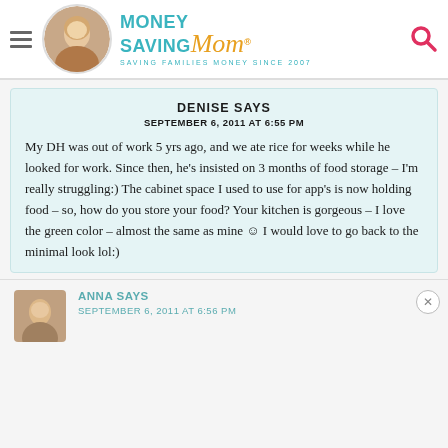Money Saving Mom® — SAVING FAMILIES MONEY SINCE 2007
DENISE SAYS
SEPTEMBER 6, 2011 AT 6:55 PM

My DH was out of work 5 yrs ago, and we ate rice for weeks while he looked for work. Since then, he's insisted on 3 months of food storage – I'm really struggling:) The cabinet space I used to use for app's is now holding food – so, how do you store your food? Your kitchen is gorgeous – I love the green color – almost the same as mine ☺ I would love to go back to the minimal look lol:)
ANNA SAYS
SEPTEMBER 6, 2011 AT 6:56 PM